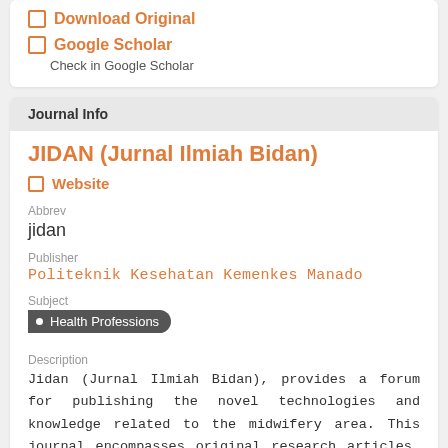Download Original
Google Scholar
Check in Google Scholar
Journal Info
JIDAN (Jurnal Ilmiah Bidan)
Website
Abbrev
jidan
Publisher
Politeknik Kesehatan Kemenkes Manado
Subject
Health Professions
Description
Jidan (Jurnal Ilmiah Bidan), provides a forum for publishing the novel technologies and knowledge related to the midwifery area. This journal encompasses original research articles, review articles, and short communications. ...